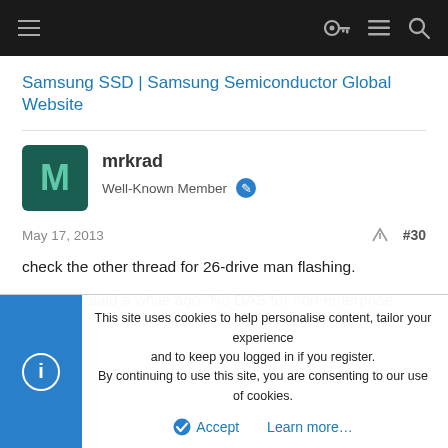Samsung SSD | Samsung Semiconductor Global Website
Samsung SSD | Samsung Semiconductor Global Website
mrkrad
Well-Known Member
May 17, 2013
#30
check the other thread for 26-drive man flashing.
samsung said a while ago "No DAS for non-enterprise drives".
This site uses cookies to help personalise content, tailor your experience and to keep you logged in if you register.
By continuing to use this site, you are consenting to our use of cookies.